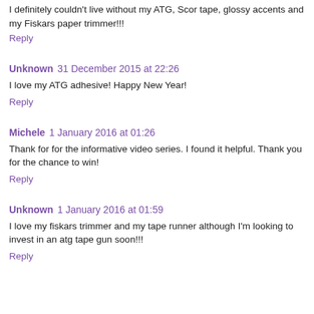I definitely couldn't live without my ATG, Scor tape, glossy accents and my Fiskars paper trimmer!!!
Reply
Unknown 31 December 2015 at 22:26
I love my ATG adhesive! Happy New Year!
Reply
Michele 1 January 2016 at 01:26
Thank for for the informative video series. I found it helpful. Thank you for the chance to win!
Reply
Unknown 1 January 2016 at 01:59
I love my fiskars trimmer and my tape runner although I'm looking to invest in an atg tape gun soon!!!
Reply